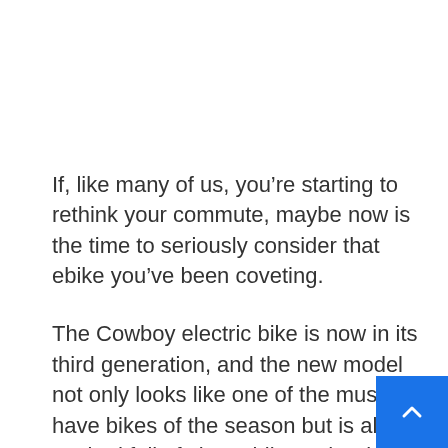If, like many of us, you're starting to rethink your commute, maybe now is the time to seriously consider that ebike you've been coveting.
The Cowboy electric bike is now in its third generation, and the new model not only looks like one of the must-have bikes of the season but is also packed full of clever bike tech. Along with a battery that's built into the 16.9kg frame and single-gear automatic transmission, the latest bike has an oil-free carbon belt transmission, lower ratio and puncture-resistant tyres.